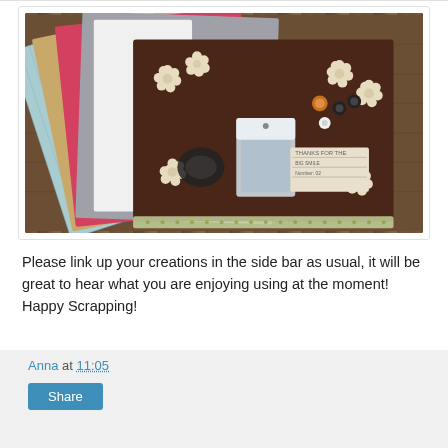[Figure (photo): Scrapbooking supplies including patterned papers in various colors (teal, gold/brown, pink/red with polka dots, grey), a dark brown base board with cream paper flowers, washi tape, a small package of embellishments, buttons, and decorative labels arranged on a wooden surface.]
Please link up your creations in the side bar as usual, it will be great to hear what you are enjoying using at the moment! Happy Scrapping!
Anna at 11:05
Share